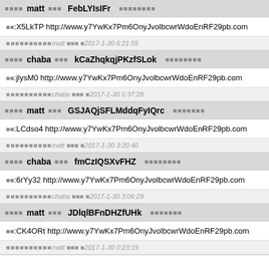■■■■matt ■■■FebLYIsIFr ■■■■■■■■
■■:X5LkTP http://www.y7YwKx7Pm6OnyJvolbcwrWdoEnRF29pb.com
■■■■■■■■■■matt ■■■ ■2017-1-30 6:21:55
■■■■chaba ■■■kCaZhqkqjPKzfSLok ■■■■■■■■
■■:jlysM0 http://www.y7YwKx7Pm6OnyJvolbcwrWdoEnRF29pb.com
■■■■■■■■■■chaba ■■■ ■2017-1-30 5:37:28
■■■■matt ■■■GSJAQjSFLMddqFyIQrc ■■■■■■■
■■:LCdso4 http://www.y7YwKx7Pm6OnyJvolbcwrWdoEnRF29pb.com
■■■■■■■■■■matt ■■■ ■2017-1-30 3:20:40
■■■■chaba ■■■fmCzIQSXvFHZ ■■■■■■■■
■■:6rYy32 http://www.y7YwKx7Pm6OnyJvolbcwrWdoEnRF29pb.com
■■■■■■■■■■chaba ■■■ ■2017-1-30 3:06:29
■■■■matt ■■■JDlqlBFnDHZfUHk ■■■■■■■
■■:CK4ORt http://www.y7YwKx7Pm6OnyJvolbcwrWdoEnRF29pb.com
■■■■■■■■■■matt ■■■ ■2017-1-30 0:23:19